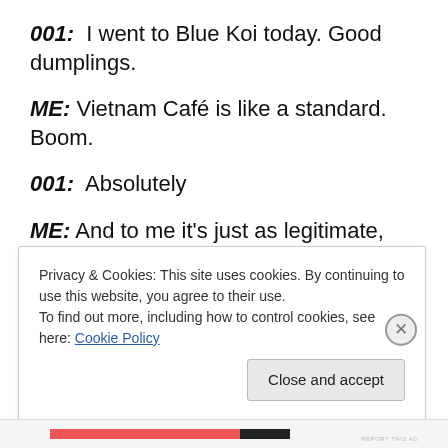001:  I went to Blue Koi today. Good dumplings.
ME: Vietnam Café is like a standard. Boom.
001:  Absolutely
ME: And to me it's just as legitimate, just as good, and I look just as forward to going there as a lot of the higher end places in town.
REPORT THIS AD
Privacy & Cookies: This site uses cookies. By continuing to use this website, you agree to their use.
To find out more, including how to control cookies, see here: Cookie Policy
Close and accept